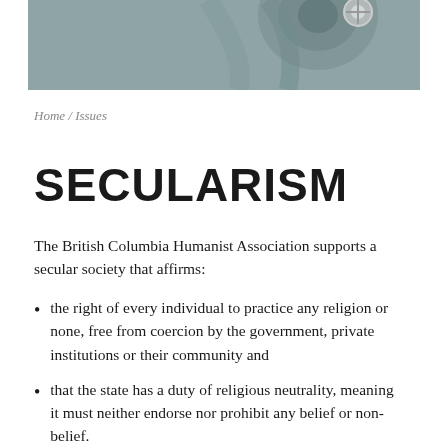[Figure (photo): Partial photograph showing mechanical/architectural elements in grey tones, top portion of a decorative wheel or gear structure visible]
Home / Issues
SECULARISM
The British Columbia Humanist Association supports a secular society that affirms:
the right of every individual to practice any religion or none, free from coercion by the government, private institutions or their community and
that the state has a duty of religious neutrality, meaning it must neither endorse nor prohibit any belief or non-belief.